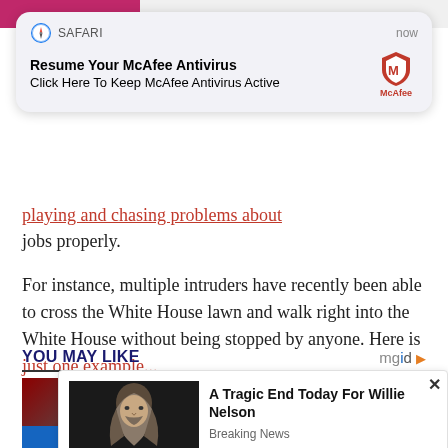[Figure (screenshot): Safari push notification overlay: 'Resume Your McAfee Antivirus / Click Here To Keep McAfee Antivirus Active' with McAfee shield logo, shown as a rounded-rectangle notification card with 'SAFARI' and 'now' labels]
jobs properly.
For instance, multiple intruders have recently been able to cross the White House lawn and walk right into the White House without being stopped by anyone. Here is just one example...
YOU MAY LIKE
[Figure (screenshot): Bottom popup ad showing a photo of Willie Nelson with headline 'A Tragic End Today For Willie Nelson' and source label 'Breaking News']